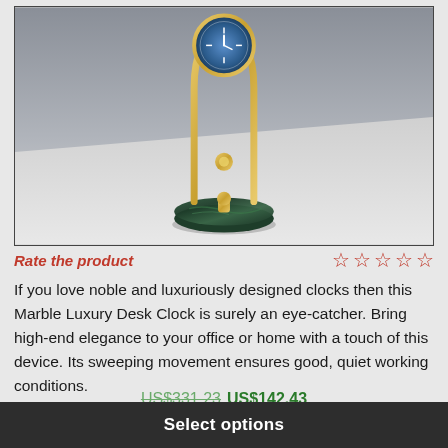[Figure (photo): A marble luxury desk clock with a gold metal arch frame, pendulum ball, and dark green marble circular base, photographed on a grey/white surface.]
Rate the product
If you love noble and luxuriously designed clocks then this Marble Luxury Desk Clock is surely an eye-catcher. Bring high-end elegance to your office or home with a touch of this device. Its sweeping movement ensures good, quiet working conditions.
US$331.23 US$142.43
Select options